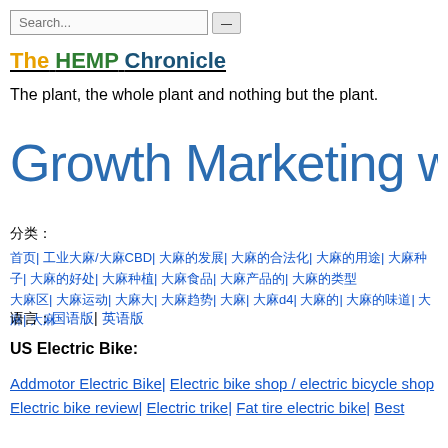Search...
The HEMP Chronicle
The plant, the whole plant and nothing but the plant.
[Figure (illustration): Large blue text reading 'Growth Marketing with' as a banner/header image]
分类：
首页| 工业大麻/大麻CBD| 大麻的发展| 大麻的合法化| 大麻的用途| 大麻种子| 大麻的好处| 大麻种植| 大麻食品| 大麻产品的| 大麻的类型 大麻区| 大麻运动| 大麻大| 大麻趋势| 大麻| 大麻d4| 大麻的| 大麻的味道| 大麻| 大麻
语言：国语版| 英语版
US Electric Bike:
Addmotor Electric Bike| Electric bike shop / electric bicycle shop Electric bike review| Electric trike| Fat tire electric bike| Best